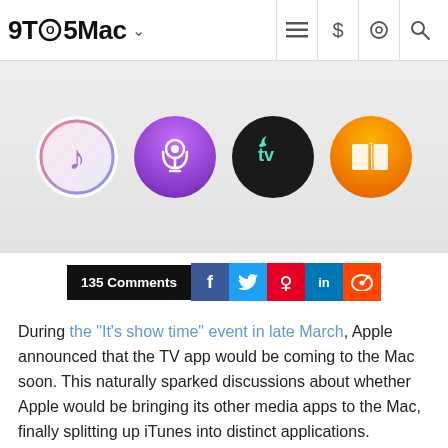9TO5Mac
[Figure (illustration): Four Apple app icons in a row: Music (iTunes - pink/red gradient music note on white circle), Podcasts (purple circle with radio wave icon), Apple TV (black circle with teal apple logo and 'tv' text), and Apple Books (orange/gold circle with white open book icon)]
135 Comments
During the “It’s show time” event in late March, Apple announced that the TV app would be coming to the Mac soon. This naturally sparked discussions about whether Apple would be bringing its other media apps to the Mac, finally splitting up iTunes into distinct applications.